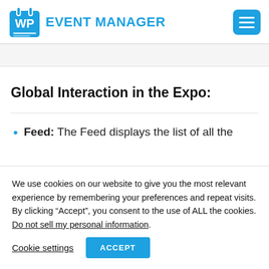[Figure (logo): WP Event Manager logo with blue calendar/clipboard icon and blue text 'EVENT MANAGER']
[Figure (other): Blue hamburger menu button with three white horizontal lines]
Global Interaction in the Expo:
Feed: The Feed displays the list of all the
We use cookies on our website to give you the most relevant experience by remembering your preferences and repeat visits. By clicking “Accept”, you consent to the use of ALL the cookies. Do not sell my personal information.
Cookie settings  ACCEPT